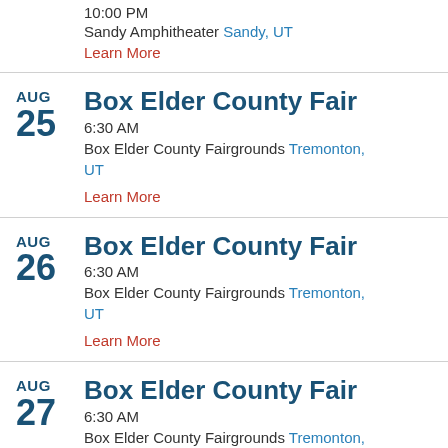10:00 PM
Sandy Amphitheater Sandy, UT
Learn More
AUG 25 – Box Elder County Fair
6:30 AM
Box Elder County Fairgrounds Tremonton, UT
Learn More
AUG 26 – Box Elder County Fair
6:30 AM
Box Elder County Fairgrounds Tremonton, UT
Learn More
AUG 27 – Box Elder County Fair
6:30 AM
Box Elder County Fairgrounds Tremonton,